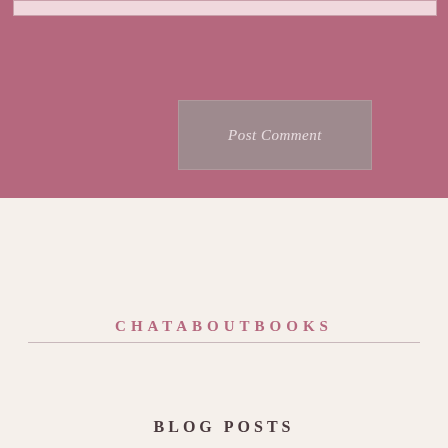Post Comment
Notify me of new comments via email.
Notify me of new posts via email.
CHATABOUTBOOKS
BLOG POSTS